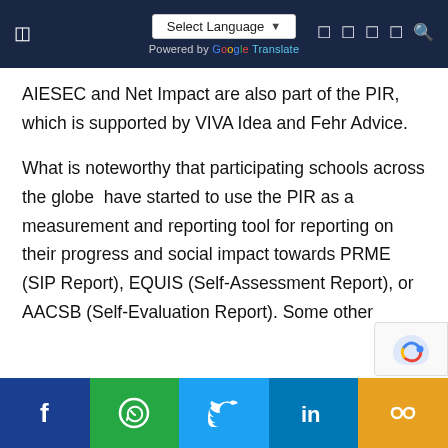Select Language | Powered by Google Translate
AIESEC and Net Impact are also part of the PIR, which is supported by VIVA Idea and Fehr Advice.
What is noteworthy that participating schools across the globe have started to use the PIR as a measurement and reporting tool for reporting on their progress and social impact towards PRME (SIP Report), EQUIS (Self-Assessment Report), or AACSB (Self-Evaluation Report). Some other
schools have started to use it as a management tool for improving their social impact.
Facebook | WhatsApp | Twitter | LinkedIn | Link